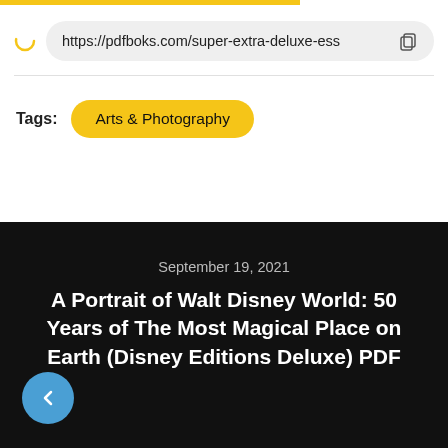https://pdfboks.com/super-extra-deluxe-ess
Tags: Arts & Photography
September 19, 2021
A Portrait of Walt Disney World: 50 Years of The Most Magical Place on Earth (Disney Editions Deluxe) PDF